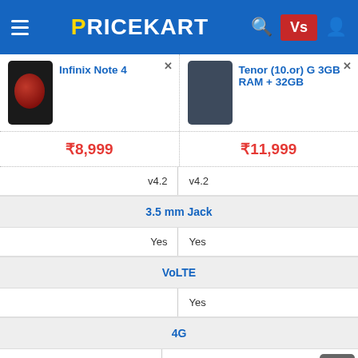PRICEKART - Product comparison page header
| Infinix Note 4 | Tenor (10.or) G 3GB RAM + 32GB |
| --- | --- |
| ₹8,999 | ₹11,999 |
| v4.2 | v4.2 |
| 3.5 mm Jack |  |
| Yes | Yes |
| VoLTE |  |
|  | Yes |
| 4G |  |
| FDD-LTE--800 / 1800 / 1900 / 2100 / 2600 MHz | FDD-LTE--800 / 1800 / 1900 / 2100 / 2600 MHz |
| 3G |  |
| UMTS 2100 / 900 MHz | UMTS 2100 / 900 MHz |